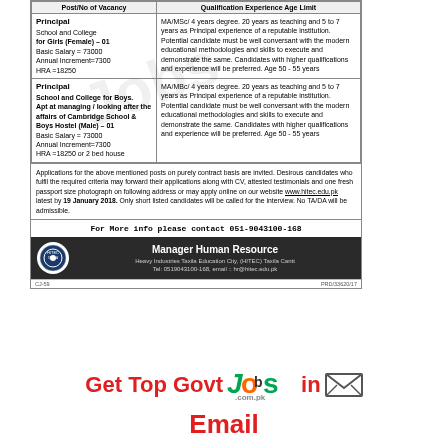| Post/No of Vacancy | Qualification Experience Age Limit |
| --- | --- |
| Principal
School and College for Girls (Female) – 01
Basic Salary = 73000
Annual Increment=7300
HRA =18250 | MA/MSc/ 4 years degree. 20 years as teaching and 5 to 7 years as Principal experience of a reputable institution. Potential candidate must be well conversant with the modern educational methodologies and skills to execute and demonstrate the same. Candidates with higher qualifications and experience will be preferred. Age 50 - 55 years |
| Principal
School and College for Boys.
Apt at managing / looking after the affairs of Cambridge School & Boys Hostel (Male) – 01
Basic Salary = 73000
Annual Increment=7300
HRA =18250 or 2 bed house | MA/MBc/ 4 years degree. 20 years as teaching and 5 to 7 years as Principal experience of a reputable institution. Potential candidate must be well conversant with the modern educational methodologies and skills to execute and demonstrate the same. Candidates with higher qualifications and experience will be preferred. Age 50 - 55 years |
Applications for the above mentioned posts on purely contract basis are invited. Desirous candidates who fulfil the required criteria may forward their applications along with CV, attested testimonials and one fresh passport size photograph on following address or may apply online on our website www.hitec.edu.pk latest by 19 January 2018. Only short listed candidates will be called for the interview. No TA/DA will be admissible.
For More info please contact 051-9043100-168
Manager Human Resource
Heavy Industries Taxila Education City, (HITEC) Taxila Cantt
Tel: 0519043100-168, email :: hr@hitec.edu.pk
Get Top Govt Jobs in Email